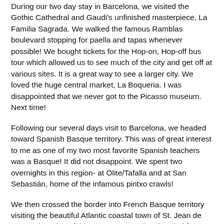During our two day stay in Barcelona, we visited the Gothic Cathedral and Gaudi's unfinished masterpiece, La Familia Sagrada.  We walked the famous Ramblas boulevard stopping for paella and tapas whenever possible!  We bought tickets for the Hop-on, Hop-off bus tour which allowed us to see much of the city and get off at various sites.  It is a great way to see a larger city. We loved the huge central market, La Boqueria.  I was disappointed that we never got to the Picasso museum.  Next time!
Following our several days visit to Barcelona, we headed toward Spanish Basque territory.  This was of great interest to me as one of my two most favorite Spanish teachers was a Basque!  It did not disappoint.  We spent two overnights in this region- at Olite/Tafalla and at San Sebastián, home of the infamous pintxo crawls!
We then crossed the border into French Basque territory visiting the beautiful Atlantic coastal town of St. Jean de Luz on the edge of the Pyrenees.  We then headed for town of Sarlat in the heart of the Dordogne and our key location for our time in this gorgeous region.  We visited many medieval villages, many fortified and possessing well preserved castles.  We also spent several hours visiting one of